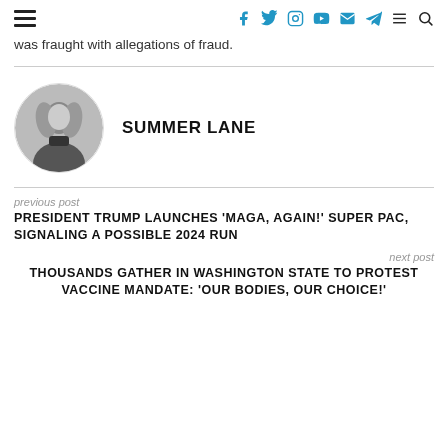Navigation header with hamburger menu and social icons: facebook, twitter, instagram, youtube, email, telegram, menu, search
was fraught with allegations of fraud.
[Figure (photo): Black and white circular portrait photo of Summer Lane, a woman with blonde wavy hair wearing a dark turtleneck]
SUMMER LANE
previous post
PRESIDENT TRUMP LAUNCHES 'MAGA, AGAIN!' SUPER PAC, SIGNALING A POSSIBLE 2024 RUN
next post
THOUSANDS GATHER IN WASHINGTON STATE TO PROTEST VACCINE MANDATE: 'OUR BODIES, OUR CHOICE!'